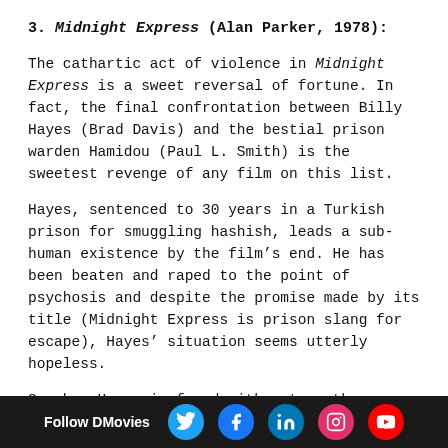3. Midnight Express (Alan Parker, 1978):
The cathartic act of violence in Midnight Express is a sweet reversal of fortune. In fact, the final confrontation between Billy Hayes (Brad Davis) and the bestial prison warden Hamidou (Paul L. Smith) is the sweetest revenge of any film on this list.
Hayes, sentenced to 30 years in a Turkish prison for smuggling hashish, leads a sub-human existence by the film's end. He has been beaten and raped to the point of psychosis and despite the promise made by its title (Midnight Express is prison slang for escape), Hayes' situation seems utterly hopeless.
So when Hayes is faced with yet another episode of sexual violence at the hands of Hamidou, he mu... left to throw ... the guard's im...
Follow DMovies